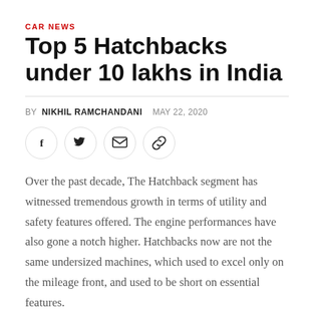CAR NEWS
Top 5 Hatchbacks under 10 lakhs in India
BY NIKHIL RAMCHANDANI   MAY 22, 2020
[Figure (infographic): Four social sharing icons in circles: Facebook (f), Twitter (bird), Email (envelope), Link (chain link)]
Over the past decade, The Hatchback segment has witnessed tremendous growth in terms of utility and safety features offered. The engine performances have also gone a notch higher. Hatchbacks now are not the same undersized machines, which used to excel only on the mileage front, and used to be short on essential features.